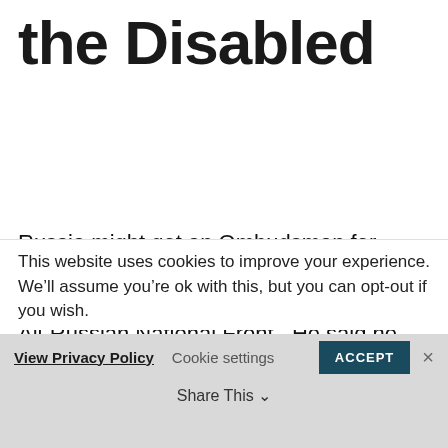the Disabled
Russia might get an Ombudsman for Disabled People’s Rights. President Putin  spoke of this at a conference of the All-Russian National Front.  He said he thought this could be discussed, decided on and a suitable candidate found.
Putin said support for people with disabilities was an
This website uses cookies to improve your experience. We’ll assume you’re ok with this, but you can opt-out if you wish.
View Privacy Policy   Cookie settings   ACCEPT   Share This   ×